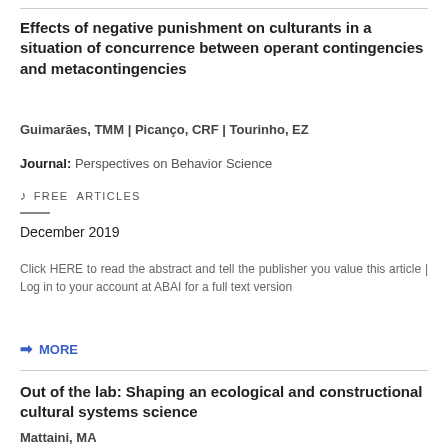Effects of negative punishment on culturants in a situation of concurrence between operant contingencies and metacontingencies
Guimarães, TMM | Picanço, CRF | Tourinho, EZ
Journal: Perspectives on Behavior Science
FREE ARTICLES
December 2019
Click HERE to read the abstract and tell the publisher you value this article | Log in to your account at ABAI for a full text version
MORE
Out of the lab: Shaping an ecological and constructional cultural systems science
Mattaini, MA